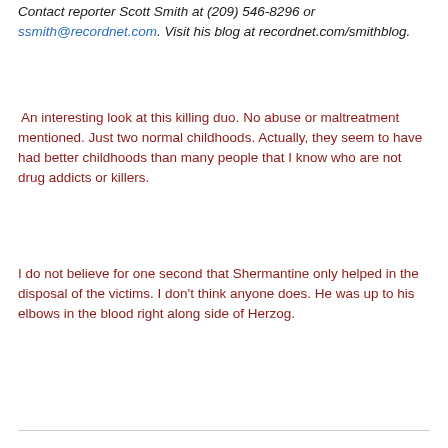Contact reporter Scott Smith at (209) 546-8296 or ssmith@recordnet.com. Visit his blog at recordnet.com/smithblog.
An interesting look at this killing duo. No abuse or maltreatment mentioned. Just two normal childhoods. Actually, they seem to have had better childhoods than many people that I know who are not drug addicts or killers.
I do not believe for one second that Shermantine only helped in the disposal of the victims. I don't think anyone does. He was up to his elbows in the blood right along side of Herzog.